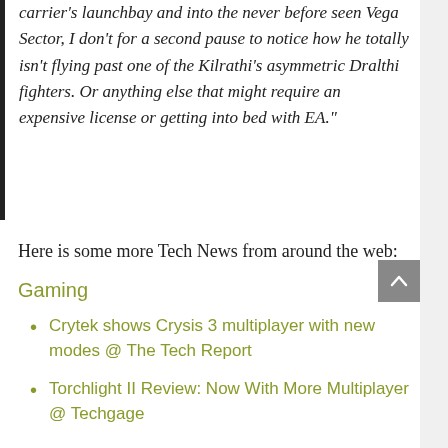carrier's launchbay and into the never before seen Vega Sector, I don't for a second pause to notice how he totally isn't flying past one of the Kilrathi's asymmetric Dralthi fighters. Or anything else that might require an expensive license or getting into bed with EA."
Here is some more Tech News from around the web:
Gaming
Crytek shows Crysis 3 multiplayer with new modes @ The Tech Report
Torchlight II Review: Now With More Multiplayer @ Techgage